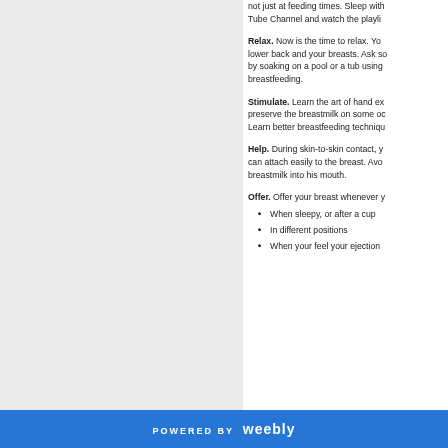not just at feeding times. Sleep with your baby... Tube Channel and watch the playlist...
Relax. Now is the time to relax. Your lower back and your breasts. Ask someone by soaking on a pool or a tub using breastfeeding.
Stimulate. Learn the art of hand expression, preserve the breastmilk on some occasions. Learn better breastfeeding techniques.
Help. During skin-to-skin contact, your baby can attach easily to the breast. Avoid squirting breastmilk into his mouth.
Offer. Offer your breast whenever you can:
When sleepy, or after a cup...
In different positions
When your feel your ejection...
POWERED BY weebly